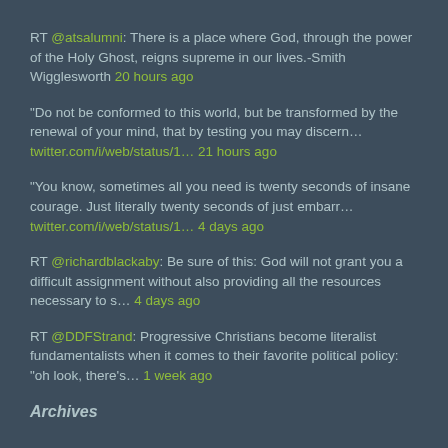RT @atsalumni: There is a place where God, through the power of the Holy Ghost, reigns supreme in our lives.-Smith Wigglesworth 20 hours ago
"Do not be conformed to this world, but be transformed by the renewal of your mind, that by testing you may discern... twitter.com/i/web/status/1... 21 hours ago
“You know, sometimes all you need is twenty seconds of insane courage. Just literally twenty seconds of just embarr... twitter.com/i/web/status/1... 4 days ago
RT @richardblackaby: Be sure of this: God will not grant you a difficult assignment without also providing all the resources necessary to s... 4 days ago
RT @DDFStrand: Progressive Christians become literalist fundamentalists when it comes to their favorite political policy: ”oh look, there’s... 1 week ago
Archives